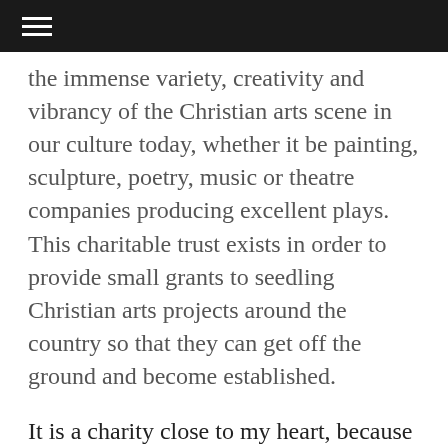≡
the immense variety, creativity and vibrancy of the Christian arts scene in our culture today, whether it be painting, sculpture, poetry, music or theatre companies producing excellent plays. This charitable trust exists in order to provide small grants to seedling Christian arts projects around the country so that they can get off the ground and become established.
It is a charity close to my heart, because before becoming one of its trustees I was one of its beneficiaries. The trust saw the potential in my Phoenix paintings to communicate the Christian message in a cathedral context. At that time I had a vision for taking these paintings on a tour of English